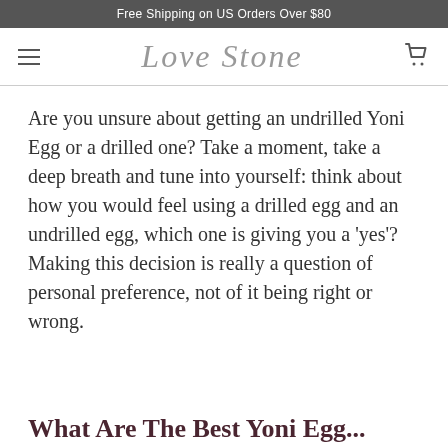Free Shipping on US Orders Over $80
[Figure (logo): Love Stone script logo with hamburger menu and cart icon]
Are you unsure about getting an undrilled Yoni Egg or a drilled one? Take a moment, take a deep breath and tune into yourself: think about how you would feel using a drilled egg and an undrilled egg, which one is giving you a 'yes'? Making this decision is really a question of personal preference, not of it being right or wrong.
What Are The Best Yoni Egg...